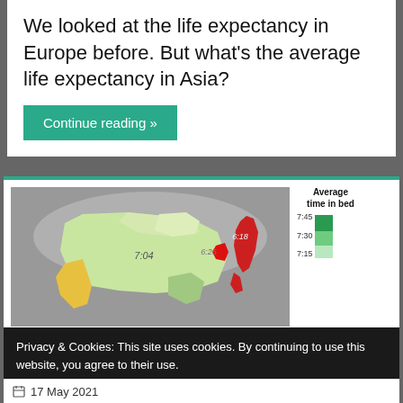We looked at the life expectancy in Europe before. But what's the average life expectancy in Asia?
Continue reading »
[Figure (map): Map of Asia showing average time in bed by country, with a bar chart legend. Values shown: 7:04 (China, light green), 6:25 (South Korea area), 6:18 (Japan area, red). Legend shows Average time in bed: 7:45, 7:30, 7:15 with green gradient bars.]
Privacy & Cookies: This site uses cookies. By continuing to use this website, you agree to their use.
To find out more, including how to control cookies, see here: Cookie Policy
Close and accept
17 May 2021